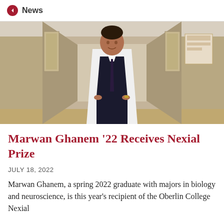News
[Figure (photo): Marwan Ghanem standing in a hospital corridor wearing a white lab coat and dark tie, hands in pockets, smiling at camera]
Marwan Ghanem '22 Receives Nexial Prize
JULY 18, 2022
Marwan Ghanem, a spring 2022 graduate with majors in biology and neuroscience, is this year's recipient of the Oberlin College Nexial...